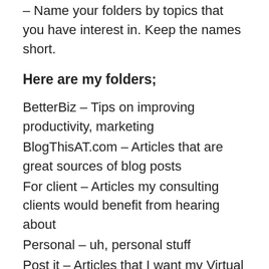– Name your folders by topics that you have interest in. Keep the names short.
Here are my folders;
BetterBiz – Tips on improving productivity, marketing
BlogThisAT.com – Articles that are great sources of blog posts
For client – Articles my consulting clients would benefit from hearing about
Personal – uh, personal stuff
Post it – Articles that I want my Virtual Assistant to Tweet about. I also add comments to these articles once they're in my Instapaper list. He uses that text and then creates a link to the article using